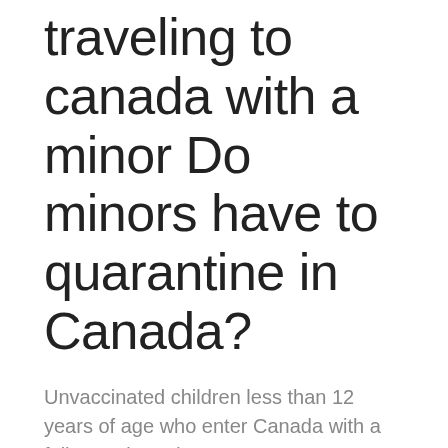traveling to canada with a minor Do minors have to quarantine in Canada?
Unvaccinated children less than 12 years of age who enter Canada with a fully vaccinated parent, step-parent, guardian or tutor, are not required to quarantine if the child follows all the requirements for fully vaccinated travellers and complies...